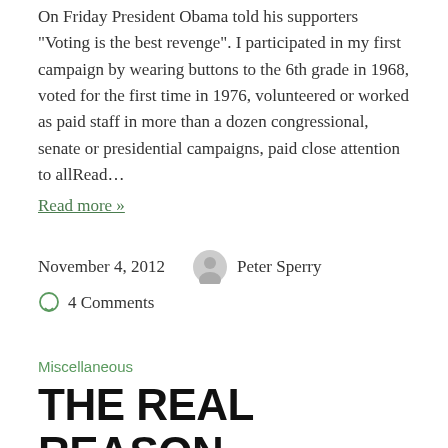On Friday President Obama told his supporters "Voting is the best revenge". I participated in my first campaign by wearing buttons to the 6th grade in 1968, voted for the first time in 1976, volunteered or worked as paid staff in more than a dozen congressional, senate or presidential campaigns, paid close attention to allRead…
Read more »
November 4, 2012   Peter Sperry
4 Comments
Miscellaneous
THE REAL REASON TELEWORK IS NOT MORE POPULAR